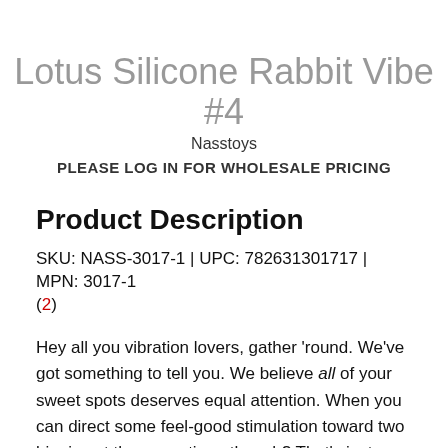Lotus Silicone Rabbit Vibe #4
Nasstoys
PLEASE LOG IN FOR WHOLESALE PRICING
Product Description
SKU: NASS-3017-1 | UPC: 782631301717 | MPN: 3017-1 (2)
Hey all you vibration lovers, gather 'round. We've got something to tell you. We believe all of your sweet spots deserves equal attention. When you can direct some feel-good stimulation toward two biggies at the same time, though? That's just magical! The Lotus Sensual Massagers #4 Rabbit Vibe does just that and more, all thanks to a beloved double-the-pleasure shape and thirty